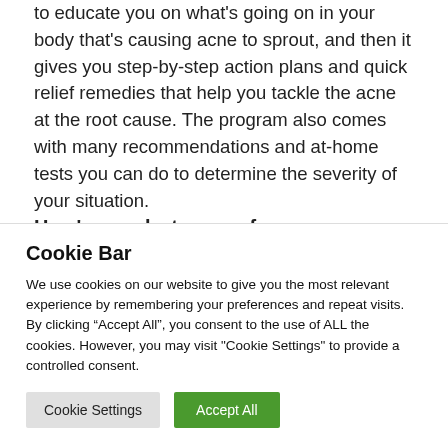to educate you on what's going on in your body that's causing acne to sprout, and then it gives you step-by-step action plans and quick relief remedies that help you tackle the acne at the root cause. The program also comes with many recommendations and at-home tests you can do to determine the severity of your situation.
Here's a peek at some of
Cookie Bar
We use cookies on our website to give you the most relevant experience by remembering your preferences and repeat visits. By clicking “Accept All”, you consent to the use of ALL the cookies. However, you may visit "Cookie Settings" to provide a controlled consent.